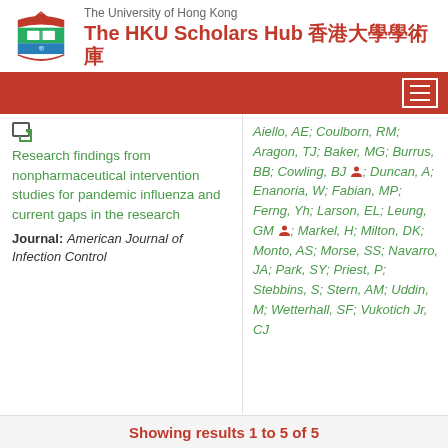The University of Hong Kong — The HKU Scholars Hub 香港大學學術庫
Research findings from nonpharmaceutical intervention studies for pandemic influenza and current gaps in the research
Journal: American Journal of Infection Control
Aiello, AE; Coulborn, RM; Aragon, TJ; Baker, MG; Burrus, BB; Cowling, BJ; Duncan, A; Enanoria, W; Fabian, MP; Ferng, Yh; Larson, EL; Leung, GM; Markel, H; Milton, DK; Monto, AS; Morse, SS; Navarro, JA; Park, SY; Priest, P; Stebbins, S; Stern, AM; Uddin, M; Wetterhall, SF; Vukotich Jr, CJ
Showing results 1 to 5 of 5